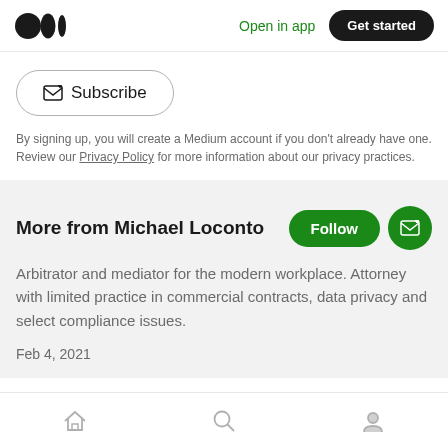Medium logo | Open in app | Get started
[Figure (logo): Medium logo - three black dots/circles]
Open in app
Get started
Subscribe
By signing up, you will create a Medium account if you don't already have one. Review our Privacy Policy for more information about our privacy practices.
More from Michael Loconto
Arbitrator and mediator for the modern workplace. Attorney with limited practice in commercial contracts, data privacy and select compliance issues.
Feb 4, 2021
Home | Search | Profile